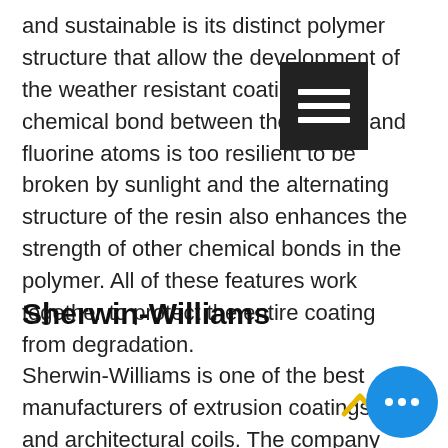and sustainable is its distinct polymer structure that allow the development of the weather resistant coating. The chemical bond between the carbon and fluorine atoms is too resilient to be broken by sunlight and the alternating structure of the resin also enhances the strength of other chemical bonds in the polymer. All of these features work together to protect the entire coating from degradation.
Sherwin-Williams
Sherwin-Williams is one of the best manufacturers of extrusion coatings and architectural coils. The company offers a palette of colors and unlimited design freedom to several projects and